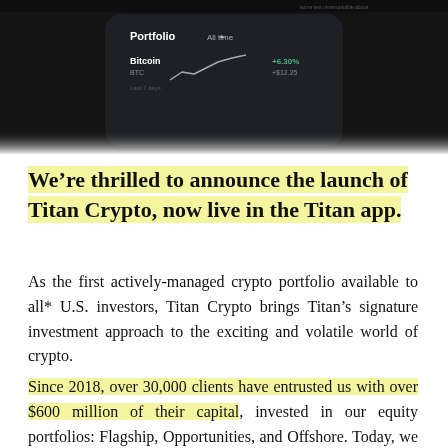[Figure (screenshot): Dark-themed mobile app screenshot showing a portfolio screen with Bitcoin (BTC) holding, a small line chart trending upward, and green percentage gain indicator. The screen shows 'Portfolio' header with 'All time' filter, and a Bitcoin entry with price chart.]
We’re thrilled to announce the launch of Titan Crypto, now live in the Titan app.
As the first actively-managed crypto portfolio available to all* U.S. investors, Titan Crypto brings Titan’s signature investment approach to the exciting and volatile world of crypto.
Since 2018, over 30,000 clients have entrusted us with over $600 million of their capital, invested in our equity portfolios: Flagship, Opportunities, and Offshore. Today, we launch into a different asset